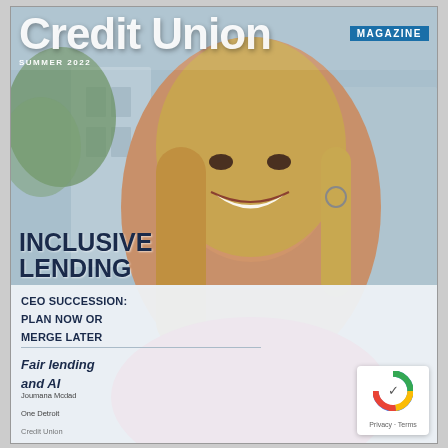Credit Union MAGAZINE
SUMMER 2022
[Figure (photo): Woman with long blonde hair smiling, wearing a pink top, against a blurred office/building background]
INCLUSIVE LENDING
CEO SUCCESSION: PLAN NOW OR MERGE LATER
Fair lending and AI
Joumana Mcdad
One Detroit
Credit Union